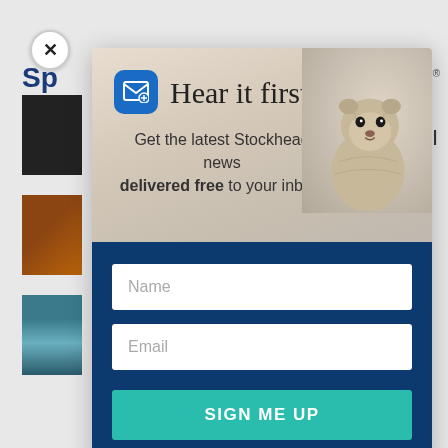[Figure (screenshot): Website newsletter signup modal popup overlay. Background shows a news website with 'Sp' in blue bold text top left, 'mi' top right, thumbnail images on the left side. A close button (X) is in the top left. The modal has a top section with a marmot/groundhog photo background, an email icon, the title 'Hear it first', and subtitle text. The bottom dark blue section has Name and Email input fields and a teal 'SIGN ME UP' button.]